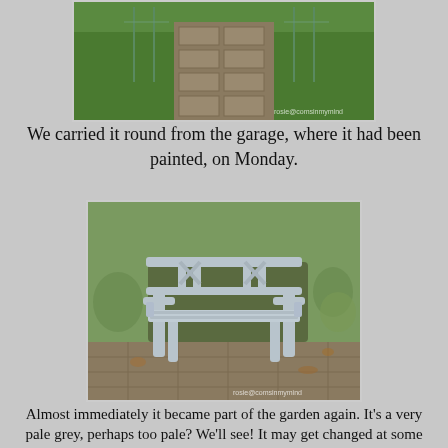[Figure (photo): Garden path with brick paving and green grass, with plant supports visible]
We carried it round from the garage, where it had been painted, on Monday.
[Figure (photo): A painted pale grey wooden garden bench with decorative X-pattern back, sitting on a brick path in a garden]
Almost immediately it became part of the garden again.  It's a very pale grey, perhaps too pale?  We'll see! It may get changed at some point.